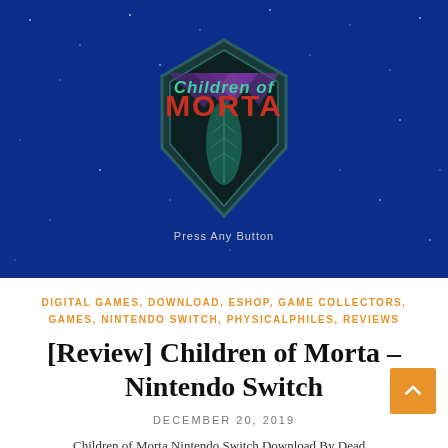[Figure (screenshot): Children of Morta game title screen with logo on a dark blue starry background, showing the text 'Press Any Button' at the bottom]
DIGITAL GAMES, DOWNLOAD, ESHOP, GAME COLLECTORS, GAMES, NINTENDO SWITCH, PHYSICALPHILES, REVIEWS
[Review] Children of Morta – Nintendo Switch
DECEMBER 20, 2019
Children of Morta Nintendo Switch Download By Dead...